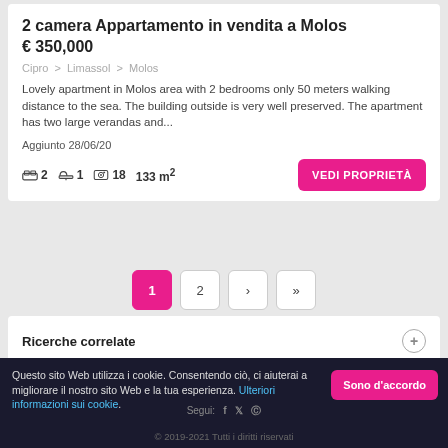2 camera Appartamento in vendita a Molos
€ 350,000
Cipro > Limassol > Molos
Lovely apartment in Molos area with 2 bedrooms only 50 meters walking distance to the sea. The building outside is very well preserved. The apartment has two large verandas and...
Aggiunto 28/06/20
2 🛏 1 🛁 18 📷 133 m²
Ricerche correlate
Entro un prezzo stabilito
Questo sito Web utilizza i cookie. Consentendo ciò, ci aiuterai a migliorare il nostro sito Web e la tua esperienza. Ulteriori informazioni sui cookie.
Segui:
© 2019-2021 Tutti i diritti riservati